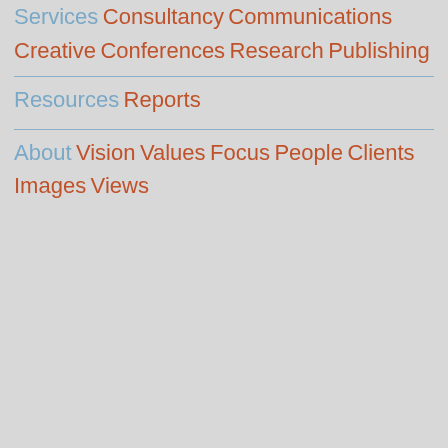Services
Consultancy
Communications
Creative
Conferences
Research
Publishing
Resources
Reports
About
Vision
Values
Focus
People
Clients
Images
Views